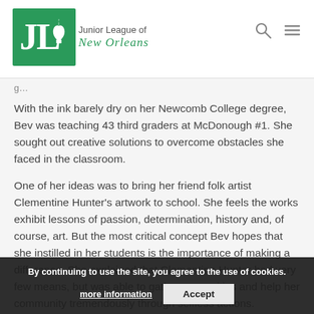Junior League of New Orleans
With the ink barely dry on her Newcomb College degree, Bev was teaching 43 third graders at McDonough #1. She sought out creative solutions to overcome obstacles she faced in the classroom.
One of her ideas was to bring her friend folk artist Clementine Hunter's artwork to school. She feels the works exhibit lessons of passion, determination, history and, of course, art. But the most critical concept Bev hopes that she instilled in her students is the importance of making a difference. She explained that Clementine Hunter had very few means, but was able to gather necessities and help her community tremendously through selfless actions.
By continuing to use the site, you agree to the use of cookies.
more information   Accept